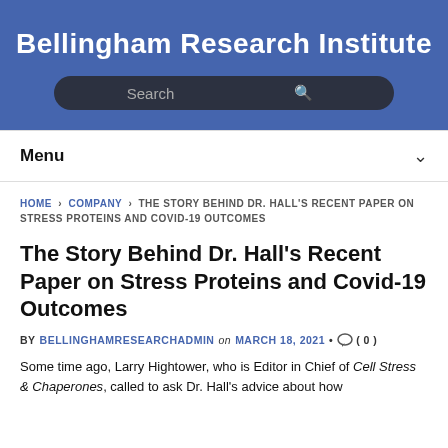Bellingham Research Institute
Menu
HOME › COMPANY › THE STORY BEHIND DR. HALL'S RECENT PAPER ON STRESS PROTEINS AND COVID-19 OUTCOMES
The Story Behind Dr. Hall's Recent Paper on Stress Proteins and Covid-19 Outcomes
BY BELLINGHAMRESEARCHADMIN on MARCH 18, 2021 • ( 0 )
Some time ago, Larry Hightower, who is Editor in Chief of Cell Stress & Chaperones, called to ask Dr. Hall's advice about how